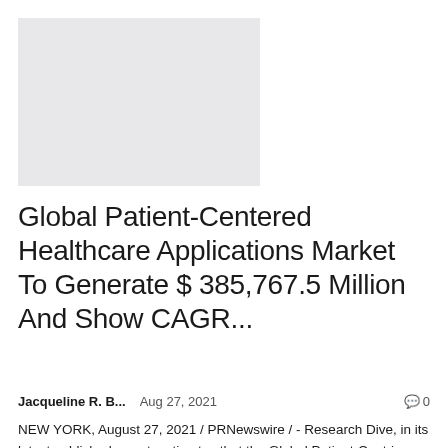[Figure (photo): Light gray placeholder image rectangle]
Global Patient-Centered Healthcare Applications Market To Generate $ 385,767.5 Million And Show CAGR...
Jacqueline R. B...   Aug 27, 2021   🗨 0
NEW YORK, August 27, 2021 / PRNewswire / - Research Dive, in its latest published report, estimates that the Global Patient-Centric